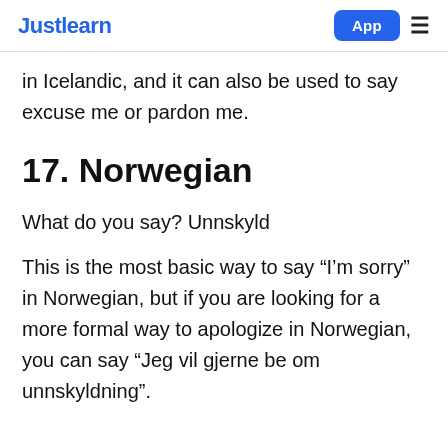Justlearn   App  ≡
in Icelandic, and it can also be used to say excuse me or pardon me.
17. Norwegian
What do you say? Unnskyld
This is the most basic way to say “I’m sorry” in Norwegian, but if you are looking for a more formal way to apologize in Norwegian, you can say “Jeg vil gjerne be om unnskyldning”.